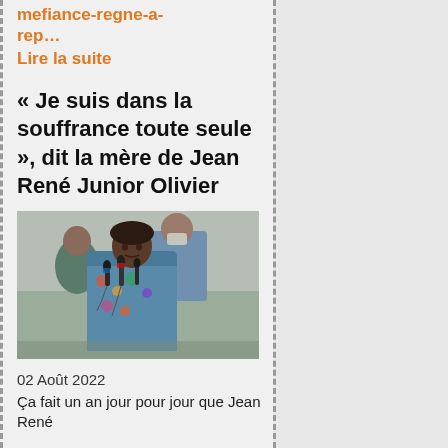mefiance-regne-a-rep…
Lire la suite
« Je suis dans la souffrance toute seule », dit la mère de Jean René Junior Olivier
[Figure (photo): Woman speaking at press conference with microphones, man in background wearing face mask]
02 Août 2022
Ça fait un an jour pour jour que Jean René…